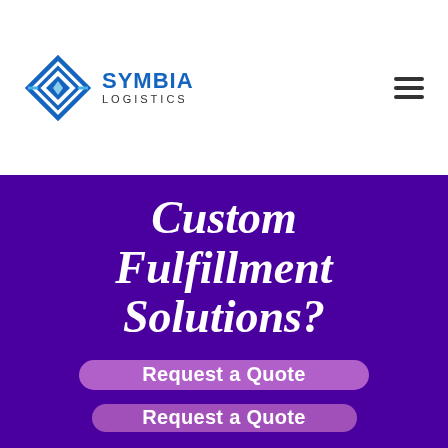SYMBIA LOGISTICS
Custom Fulfillment Solutions?
Request a Quote
Request a Quote